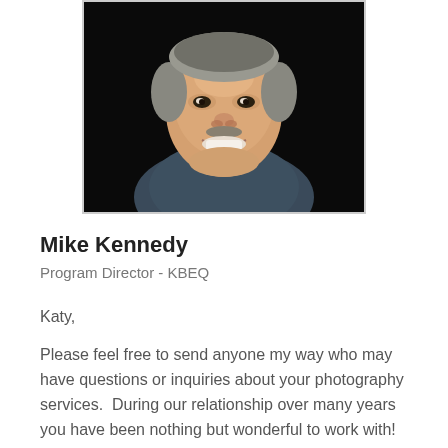[Figure (photo): Headshot photo of a smiling middle-aged man against a dark background, wearing a dark shirt]
Mike Kennedy
Program Director - KBEQ
Katy,
Please feel free to send anyone my way who may have questions or inquiries about your photography services.  During our relationship over many years you have been nothing but wonderful to work with! The quality of your work and the willingness to assist us with the